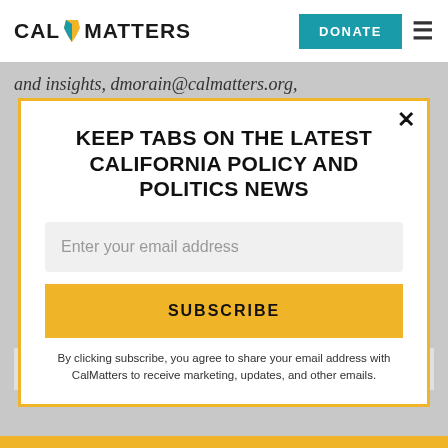CAL MATTERS | DONATE
and insights, dmorain@calmatters.org,
KEEP TABS ON THE LATEST CALIFORNIA POLICY AND POLITICS NEWS
Enter your email address
SUBSCRIBE
By clicking subscribe, you agree to share your email address with CalMatters to receive marketing, updates, and other emails.
commentary questions: commentary@calmatters.org